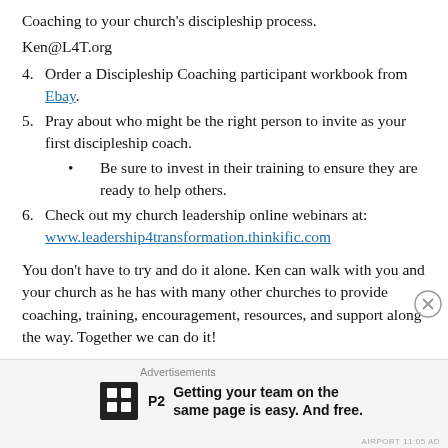Coaching to your church's discipleship process.
Ken@L4T.org
4. Order a Discipleship Coaching participant workbook from Ebay.
5. Pray about who might be the right person to invite as your first discipleship coach.
Be sure to invest in their training to ensure they are ready to help others.
6. Check out my church leadership online webinars at: www.leadership4transformation.thinkific.com
You don’t have to try and do it alone. Ken can walk with you and your church as he has with many other churches to provide coaching, training, encouragement, resources, and support along the way. Together we can do it!
Advertisements
Getting your team on the same page is easy. And free.